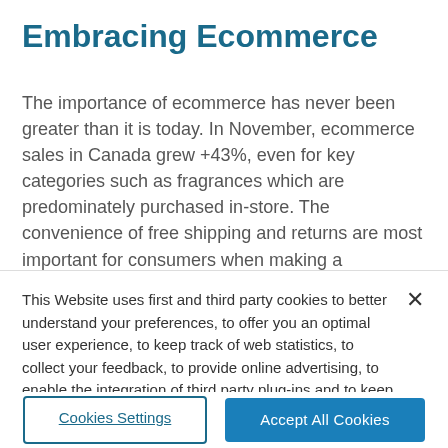Embracing Ecommerce
The importance of ecommerce has never been greater than it is today. In November, ecommerce sales in Canada grew +43%, even for key categories such as fragrances which are predominately purchased in-store. The convenience of free shipping and returns are most important for consumers when making a
This Website uses first and third party cookies to better understand your preferences, to offer you an optimal user experience, to keep track of web statistics, to collect your feedback, to provide online advertising, to enable the integration of third party plug-ins and to keep the Websites operating as smoothly as possible.
Cookies Settings
Accept All Cookies